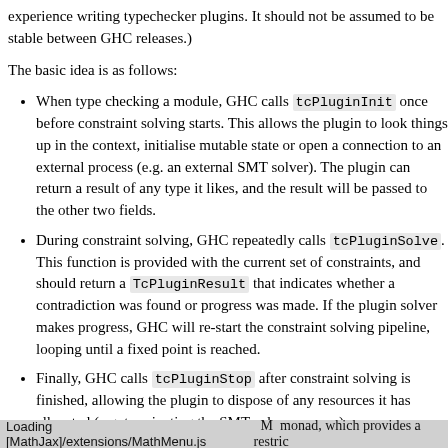experience writing typechecker plugins. It should not be assumed to be stable between GHC releases.)
The basic idea is as follows:
When type checking a module, GHC calls tcPluginInit once before constraint solving starts. This allows the plugin to look things up in the context, initialise mutable state or open a connection to an external process (e.g. an external SMT solver). The plugin can return a result of any type it likes, and the result will be passed to the other two fields.
During constraint solving, GHC repeatedly calls tcPluginSolve. This function is provided with the current set of constraints, and should return a TcPluginResult that indicates whether a contradiction was found or progress was made. If the plugin solver makes progress, GHC will re-start the constraint solving pipeline, looping until a fixed point is reached.
Finally, GHC calls tcPluginStop after constraint solving is finished, allowing the plugin to dispose of any resources it has allocated (e.g. terminating the SMT solver process).
Loading [MathJax]/extensions/MathMenu.js  M  monad, which provides a restric...